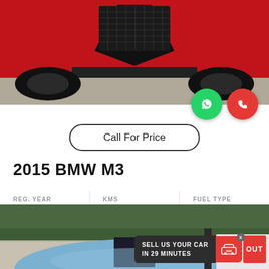[Figure (photo): Front view of a red sports car (Ferrari-style) showing grille and hood]
Call For Price
2015 BMW M3
| REG. YEAR | KMS | FUEL TYPE |
| --- | --- | --- |
| 2015 | 4600 | PETROL |
[Figure (photo): Front view of a light blue BMW car in a parking lot with hedges in background, with sell banner overlay reading SELL US YOUR CAR IN 29 MINUTES]